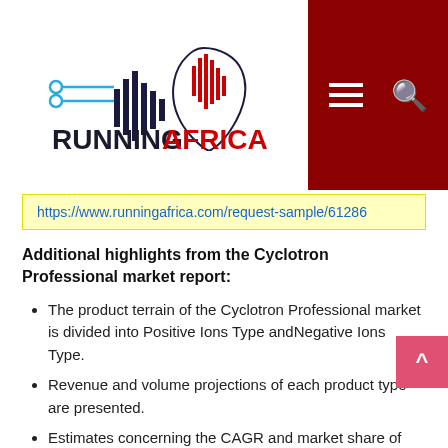RUNNINGAFRICA - Navigation header with logo and menu icons
https://www.runningafrica.com/request-sample/61286
Additional highlights from the Cyclotron Professional market report:
The product terrain of the Cyclotron Professional market is divided into Positive Ions Type andNegative Ions Type.
Revenue and volume projections of each product type are presented.
Estimates concerning the CAGR and market share of each product segment during the study period are included in the report.
With regards to the application spectrum, the market is